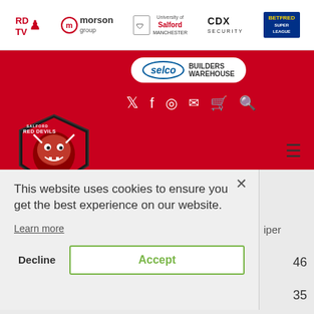RD TV | morson group | University of Salford Manchester | CDX Security | Betfred Super League
[Figure (logo): Selco Builders Warehouse logo on red background with Salford Red Devils mascot logo and social media navigation icons]
This website uses cookies to ensure you get the best experience on our website.
Learn more
Decline
Accept
Under 16